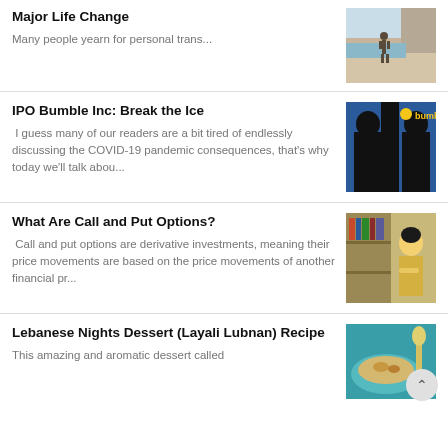Major Life Change
Many people yearn for personal trans...
[Figure (photo): Person walking on beach near cliffs]
IPO Bumble Inc: Break the Ice
I guess many of our readers are a bit tired of endlessly discussing the COVID-19 pandemic consequences, that's why today we'll talk abou...
[Figure (photo): Bumble app logo over silhouette of two people facing each other]
What Are Call and Put Options?
Call and put options are derivative investments, meaning their price movements are based on the price movements of another financial pr...
[Figure (photo): Woman in yellow cardigan reading/studying in library]
Lebanese Nights Dessert (Layali Lubnan) Recipe
This amazing and aromatic dessert called
[Figure (photo): Lebanese dessert on blue plate with spoon]